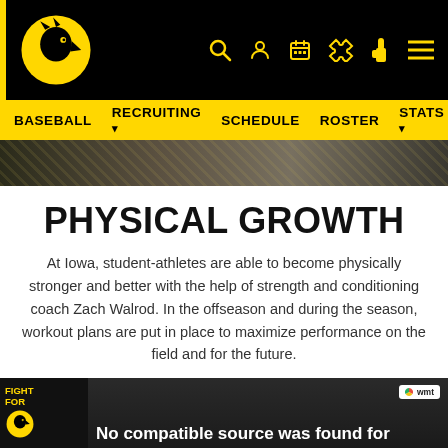Iowa Hawkeyes Athletics header with logo and navigation icons
BASEBALL  RECRUITING ▾  SCHEDULE  ROSTER  STATS ▾
[Figure (photo): Hero banner image of Iowa baseball players in action, partially visible]
PHYSICAL GROWTH
At Iowa, student-athletes are able to become physically stronger and better with the help of strength and conditioning coach Zach Walrod. In the offseason and during the season, workout plans are put in place to maximize performance on the field and for the future.
[Figure (screenshot): Video player showing 'No compatible source was found for' error, with Fight for Iowa logo on left and WMT badge on right]